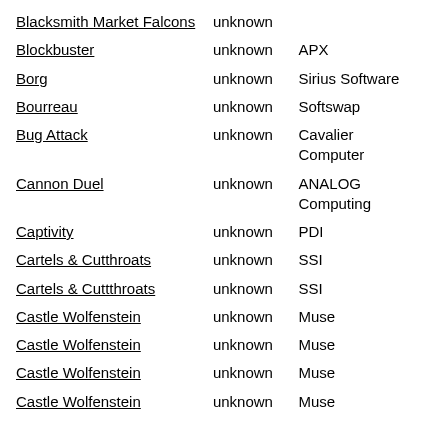| Blacksmith Market Falcons | unknown |  |
| Blockbuster | unknown | APX |
| Borg | unknown | Sirius Software |
| Bourreau | unknown | Softswap |
| Bug Attack | unknown | Cavalier Computer |
| Cannon Duel | unknown | ANALOG Computing |
| Captivity | unknown | PDI |
| Cartels & Cutthroats | unknown | SSI |
| Cartels & Cuttthroats | unknown | SSI |
| Castle Wolfenstein | unknown | Muse |
| Castle Wolfenstein | unknown | Muse |
| Castle Wolfenstein | unknown | Muse |
| Castle Wolfenstein | unknown | Muse |